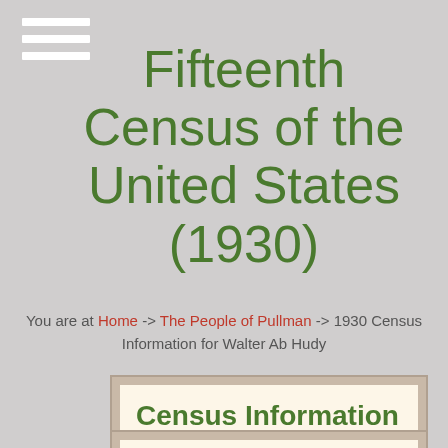[Figure (other): Hamburger menu icon with three white horizontal lines]
Fifteenth Census of the United States (1930)
You are at Home -> The People of Pullman -> 1930 Census Information for Walter Ab Hudy
Census Information for Walter Ab Hudy
Census header